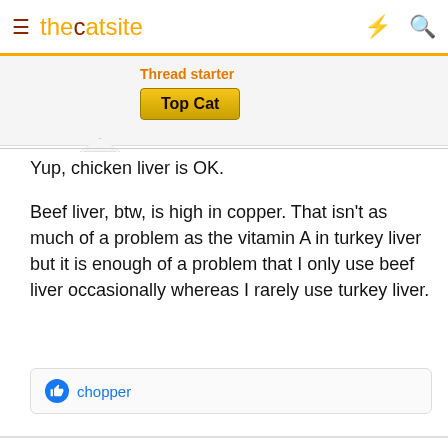thecatsite
Thread starter
Top Cat
Yup, chicken liver is OK.

Beef liver, btw, is high in copper. That isn't as much of a problem as the vitamin A in turkey liver but it is enough of a problem that I only use beef liver occasionally whereas I rarely use turkey liver.
chopper